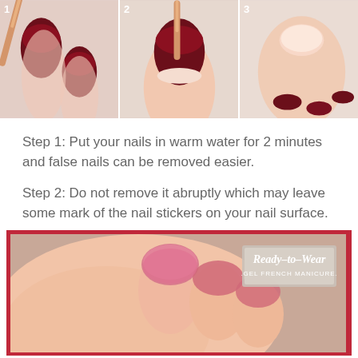[Figure (photo): Three-step instructional photo sequence showing dark red false nails being removed: step 1 using an orange stick, step 2 lifting the nail, step 3 the removed false nails next to a hand]
Step 1: Put your nails in warm water for 2 minutes and false nails can be removed easier.
Step 2: Do not remove it abruptly which may leave some mark of the nail stickers on your nail surface.
[Figure (photo): Close-up photo of hands with pinkish-red gradient gel french manicure nails being peeled off, with 'Ready-to-Wear GEL FRENCH MANICURE.' overlay text on a pink background border]